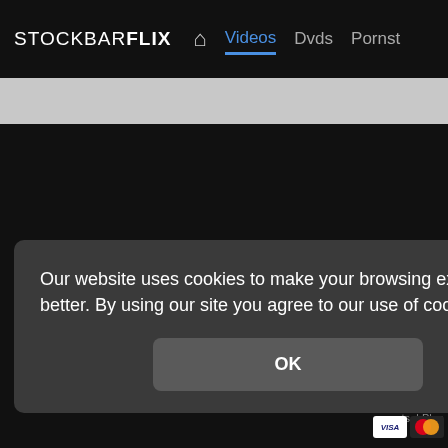STOCKBARFLIX  ⌂  Videos  Dvds  Pornst
Home | Videos | Dvds
Terms and Conditions | 18 U.S.C. 2257 Record-Keeping Re
Our website uses cookies to make your browsing experience better. By using our site you agree to our use of cookies.
OK